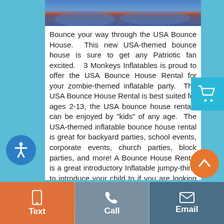[Figure (photo): Top portion of a USA-themed bounce house inflatable, showing red, blue, and patriotic colors]
Bounce your way through the USA Bounce House. This new USA-themed bounce house is sure to get any Patriotic fan excited. 3 Monkeys Inflatables is proud to offer the USA Bounce House Rental for your zombie-themed inflatable party. The USA Bounce House Rental is best suited for ages 2-13, the USA bounce house rentals can be enjoyed by "kids" of any age. The USA-themed inflatable bounce house rental is great for backyard parties, school events, corporate events, church parties, block parties, and more! A Bounce House Rental is a great introductory Inflatable jumpy-thing to introduce your child to if you are looking to add more than just a bounce house you might want to head over and look at our combo rentals before deciding. We deliver
Text   Call   Email